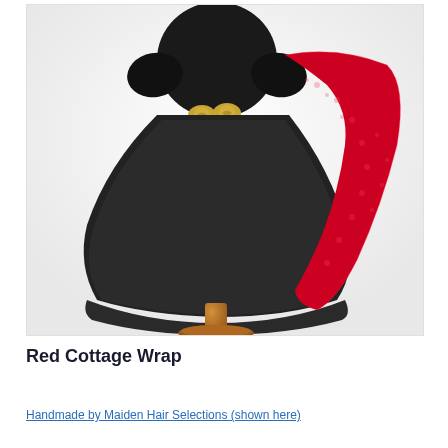[Figure (photo): A black chiffon dress displayed on a wooden dress form mannequin stand, with a red knit/lace wrap draped over the right shoulder. The dress has a flowing skirt and a gold floral belt buckle at the waist. Background is white/light grey.]
Red Cottage Wrap
Handmade by Maiden Hair Selections (shown here)